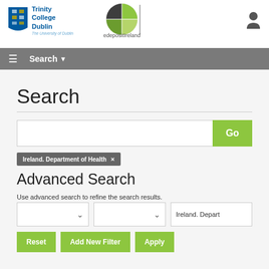Trinity College Dublin — The University of Dublin | edepositIreland
[Figure (logo): Trinity College Dublin shield logo with text 'Trinity College Dublin, The University of Dublin']
[Figure (logo): edepositIreland logo — circular green and gray icon with 'edepositIreland' text below]
[Figure (logo): User/account icon (person silhouette)]
≡   Search ▾
Search
[Figure (screenshot): Search input box with Go button]
Ireland. Department of Health ×
Advanced Search
Use advanced search to refine the search results.
[Figure (screenshot): Three filter controls: two dropdowns and a text input showing 'Ireland. Depart']
[Figure (screenshot): Buttons: Reset, Add New Filter, Apply]